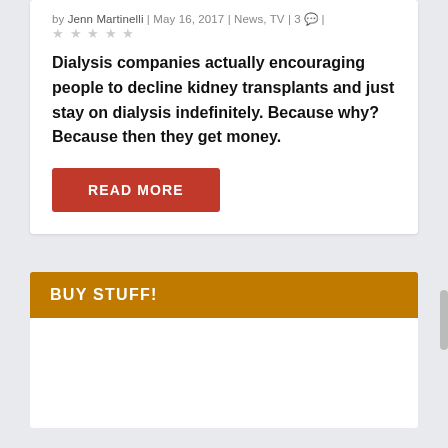by Jenn Martinelli | May 16, 2017 | News, TV | 3 | ★★★★★
Dialysis companies actually encouraging people to decline kidney transplants and just stay on dialysis indefinitely. Because why? Because then they get money.
READ MORE
BUY STUFF!